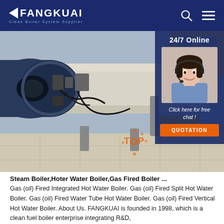FANGKUAI — Clean Boiler System Supplier
[Figure (photo): Industrial gas boiler equipment photograph showing large blue cylindrical boiler with burner assembly, pipes, and industrial components in a factory setting. Side panel shows '24/7 Online' customer service agent with 'Click here for free chat!' and QUOTATION button.]
Steam Boiler,Hoter Water Boiler,Gas Fired Boiler ...
Gas (oil) Fired Integrated Hot Water Boiler. Gas (oil) Fired Split Hot Water Boiler. Gas (oil) Fired Water Tube Hot Water Boiler. Gas (oil) Fired Vertical Hot Water Boiler. About Us. FANGKUAI is founded in 1998, which is a clean fuel boiler enterprise integrating R&D, manufacturing and sales at the most 20 years of ...